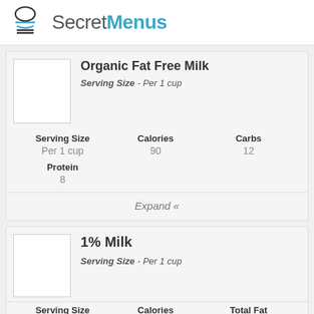SecretMenus
Organic Fat Free Milk
Serving Size - Per 1 cup
| Serving Size | Calories | Carbs |
| --- | --- | --- |
| Per 1 cup | 90 | 12 |
| Protein |
| --- |
| 8 |
Expand «
1% Milk
Serving Size - Per 1 cup
| Serving Size | Calories | Total Fat |
| --- | --- | --- |